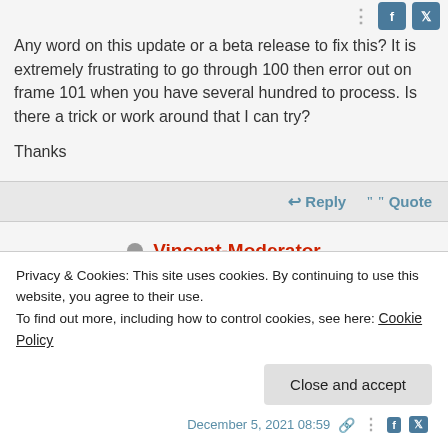Any word on this update or a beta release to fix this? It is extremely frustrating to go through 100 then error out on frame 101 when you have several hundred to process. Is there a trick or work around that I can try?
Thanks
Reply   Quote
Vincent-Moderator
(@vincent_mod)
Privacy & Cookies: This site uses cookies. By continuing to use this website, you agree to their use.
To find out more, including how to control cookies, see here: Cookie Policy
Close and accept
December 5, 2021 08:59